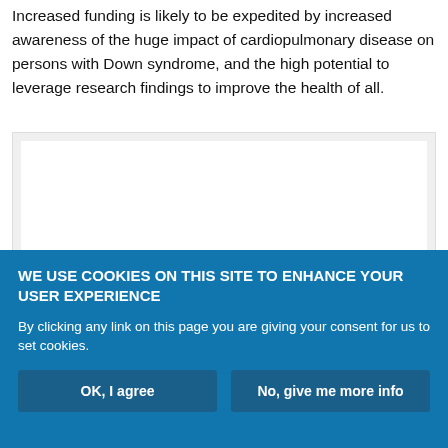Increased funding is likely to be expedited by increased awareness of the huge impact of cardiopulmonary disease on persons with Down syndrome, and the high potential to leverage research findings to improve the health of all.
[Figure (other): White content area box with light gray background border, partially obscured by cookie consent banner overlay]
WE USE COOKIES ON THIS SITE TO ENHANCE YOUR USER EXPERIENCE
By clicking any link on this page you are giving your consent for us to set cookies.